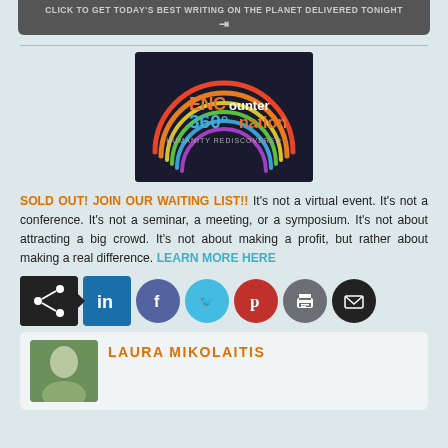CLICK TO GET TODAY'S BEST WRITING ON THE PLANET DELIVERED TONIGHT
[Figure (logo): Encounter 360 Nation logo - circular rainbow arc design with text 'ENCOUnter 360° nation HUMANITY REDISCOVERED' on dark background]
SOLD OUT! JOIN OUR WAITING LIST!! It's not a virtual event. It's not a conference. It's not a seminar, a meeting, or a symposium. It's not about attracting a big crowd. It's not about making a profit, but rather about making a real difference. LEARN MORE HERE
[Figure (infographic): Social share buttons row: black share icon with arrow, LinkedIn (blue square), Facebook (purple circle), Twitter (cyan circle), Pinterest (red circle), Print (grey circle), Email (dark circle)]
LAURA MIKOLAITIS